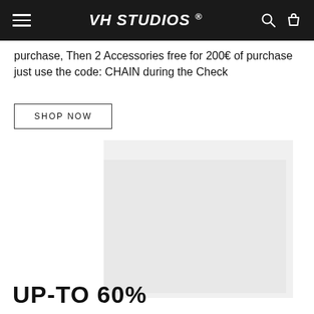VH STUDIOS ®
purchase, Then 2 Accessories free for 200€ of purchase just use the code: CHAIN during the Check
SHOP NOW
[Figure (photo): Light gray product image placeholder showing what appears to be a clothing item or fabric on a white background]
UP-TO 60%